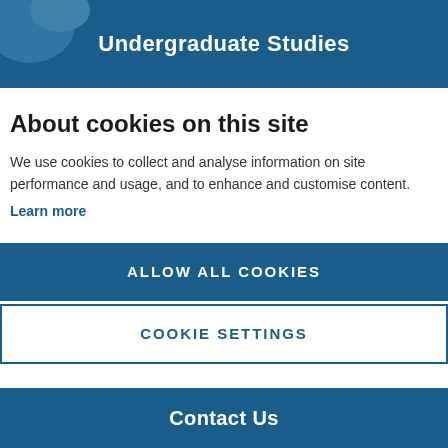Undergraduate Studies
About cookies on this site
We use cookies to collect and analyse information on site performance and usage, and to enhance and customise content.
Learn more
ALLOW ALL COOKIES
COOKIE SETTINGS
Contact Us